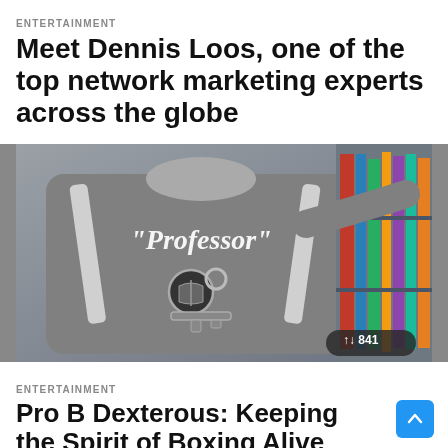ENTERTAINMENT
Meet Dennis Loos, one of the top network marketing experts across the globe
[Figure (photo): Back view of a person wearing a grey hoodie with 'Professor' text and a key logo design, standing near bookshelves. A vote counter badge showing '841' is visible in the bottom right corner.]
ENTERTAINMENT
Pro B Dexterous: Keeping the Spirit of Boxing Alive